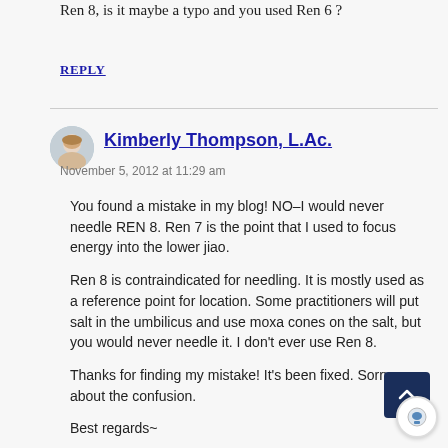Ren 8, is it maybe a typo and you used Ren 6 ?
REPLY
Kimberly Thompson, L.Ac.
November 5, 2012 at 11:29 am
You found a mistake in my blog! NO–I would never needle REN 8. Ren 7 is the point that I used to focus energy into the lower jiao.
Ren 8 is contraindicated for needling. It is mostly used as a reference point for location. Some practitioners will put salt in the umbilicus and use moxa cones on the salt, but you would never needle it. I don't ever use Ren 8.
Thanks for finding my mistake! It's been fixed. Sorry about the confusion.
Best regards~
Kimberly